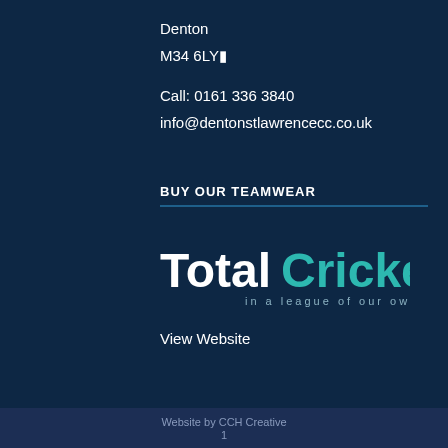Denton
M34 6LY■
Call: 0161 336 3840
info@dentonstlawrencecc.co.uk
BUY OUR TEAMWEAR
[Figure (logo): TotalCricket logo with tagline 'in a league of our own']
View Website
Website by CCH Creative
1